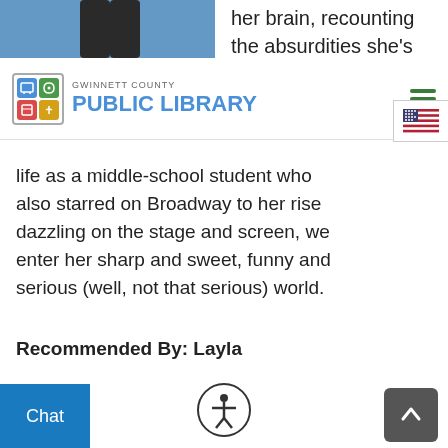[Figure (photo): Top strip showing partial view of a person's legs and a blue background photo on the left, and partial text on the right]
GWINNETT COUNTY PUBLIC LIBRARY
life as a middle-school student who also starred on Broadway to her rise dazzling on the stage and screen, we enter her sharp and sweet, funny and serious (well, not that serious) world.
Recommended By: Layla